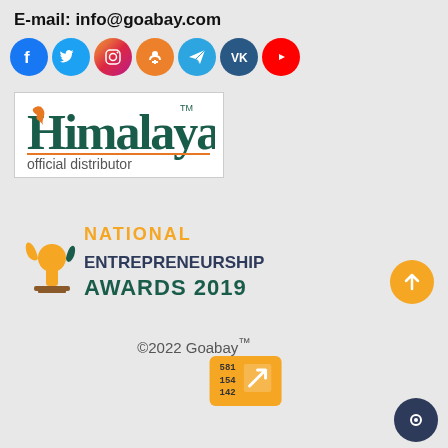E-mail: info@goabay.com
[Figure (illustration): Row of social media icons: Facebook (blue), Twitter (light blue), Instagram (gradient), Odnoklassniki (orange), Telegram (blue), VKontakte (dark blue), YouTube (red)]
[Figure (logo): Himalaya official distributor logo in white box with border]
[Figure (logo): National Entrepreneurship Awards 2019 logo with orange/green text and trophy figure]
©2022 Goabay™
[Figure (other): Yellow/orange counter badge showing numbers 581, 154, 142 with an arrow icon]
[Figure (other): Orange scroll-to-top button with upward arrow]
[Figure (other): Dark blue circular chat button]